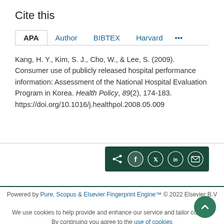Cite this
APA | Author | BIBTEX | Harvard | ...
Kang, H. Y., Kim, S. J., Cho, W., & Lee, S. (2009). Consumer use of publicly released hospital performance information: Assessment of the National Hospital Evaluation Program in Korea. Health Policy, 89(2), 174-183. https://doi.org/10.1016/j.healthpol.2008.05.009
[Figure (other): Share buttons bar with icons for share, Facebook, Twitter, LinkedIn, and email on dark green background]
Powered by Pure, Scopus & Elsevier Fingerprint Engine™ © 2022 Elsevier B.V
We use cookies to help provide and enhance our service and tailor content. By continuing you agree to the use of cookies